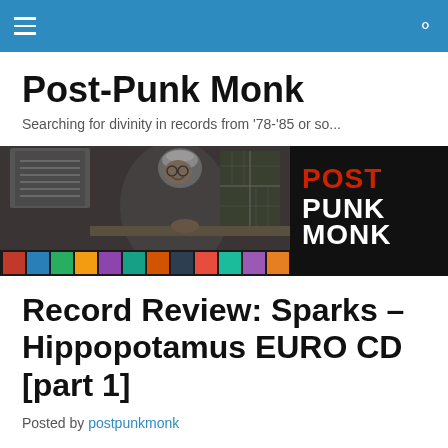Navigation bar with menu and search icons
Post-Punk Monk
Searching for divinity in records from '78-'85 or so...
[Figure (photo): Banner image showing a monk writing at a desk with books, alongside a black panel with POST PUNK MONK text in white and red letters, with colorful album covers at the bottom]
Record Review: Sparks – Hippopotamus EURO CD [part 1]
Posted by postpunkmonk